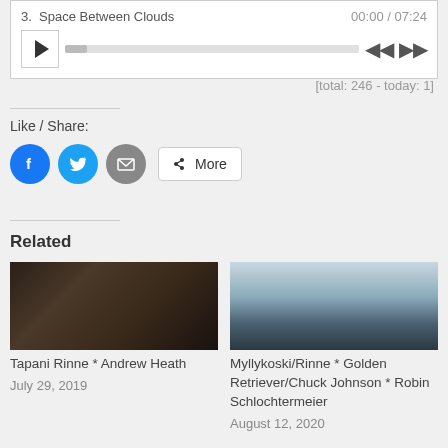[Figure (screenshot): Audio player showing track '3. Space Between Clouds', time 00:00/07:24, with play button, progress bar, and skip controls]
[total: 246 - today: 1]
Like / Share:
[Figure (other): Social share buttons: Facebook (blue circle), Twitter (blue circle), Email (grey circle), More button with share icon]
Related
[Figure (photo): Dark moody photo, possibly interior/window scene]
Tapani Rinne * Andrew Heath
July 29, 2019
[Figure (photo): Misty foggy landscape photo in blue-grey tones]
Myllykoski/Rinne * Golden Retriever/Chuck Johnson * Robin Schlochtermeier
August 12, 2020